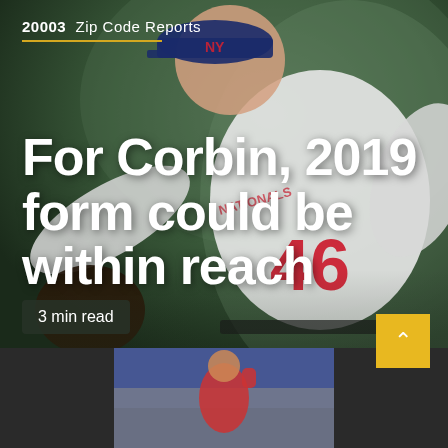[Figure (photo): Baseball pitcher wearing jersey number 46 in a white Washington Nationals uniform, mid-pitch motion, with a dark green blurred background]
20003  Zip Code Reports
For Corbin, 2019 form could be within reach
3 min read
[Figure (photo): Partial view of a baseball player at the bottom of the page, cropped preview image]